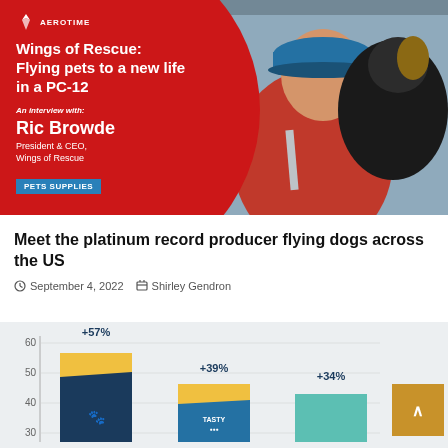[Figure (photo): Hero banner showing a man in a red shirt and blue cap holding a black dog, with red circle overlay containing article title text, Wings of Rescue branding, and interview with Ric Browde, President & CEO Wings of Rescue, with PETS SUPPLIES tag]
Meet the platinum record producer flying dogs across the US
September 4, 2022   Shirley Gendron
[Figure (bar-chart): Bar chart showing growth percentages]